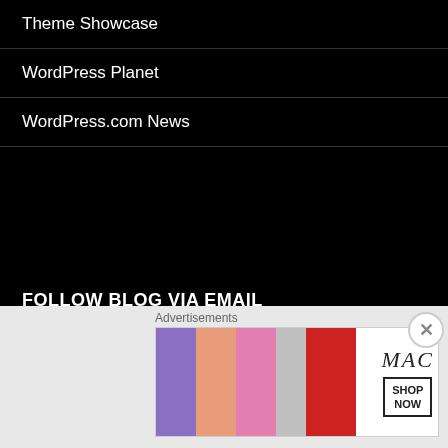Theme Showcase
WordPress Planet
WordPress.com News
FOLLOW BLOG VIA EMAIL
Enter your email address to follow this blog and receive notifications of new posts by email.
Enter your email address
FOLLOW
Join 2,381 other followers
Advertisements
[Figure (photo): MAC cosmetics advertisement banner showing colorful lipsticks with MAC logo and SHOP NOW button]